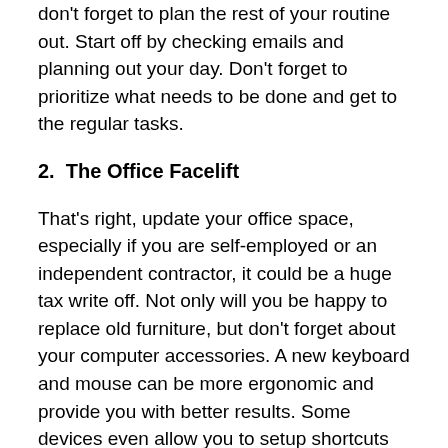don't forget to plan the rest of your routine out. Start off by checking emails and planning out your day. Don't forget to prioritize what needs to be done and get to the regular tasks.
2.  The Office Facelift
That's right, update your office space, especially if you are self-employed or an independent contractor, it could be a huge tax write off. Not only will you be happy to replace old furniture, but don't forget about your computer accessories. A new keyboard and mouse can be more ergonomic and provide you with better results. Some devices even allow you to setup shortcuts for the copy and pasting you do all day.
3.  Snappy Credit Card Purchases